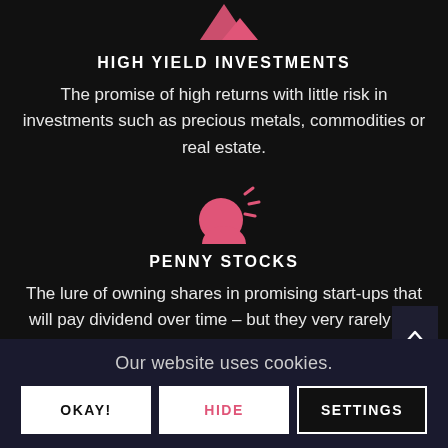[Figure (illustration): Pink mountain/chart icon at top]
HIGH YIELD INVESTMENTS
The promise of high returns with little risk in investments such as precious metals, commodities or real estate.
[Figure (illustration): Pink piggy bank / money bag icon]
PENNY STOCKS
The lure of owning shares in promising start-ups that will pay dividend over time – but they very rarely do.
[Figure (illustration): Pink icon partially visible at bottom]
Our website uses cookies.